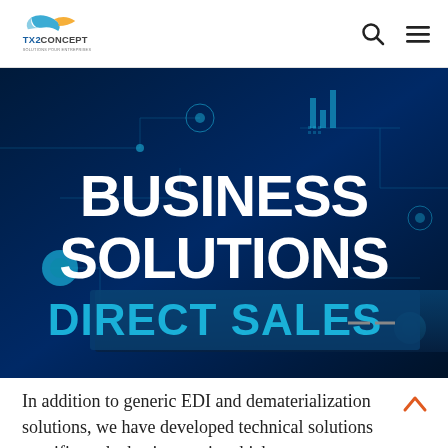TX2CONCEPT
[Figure (illustration): Dark blue technology/circuit board background with text overlay: BUSINESS SOLUTIONS DIRECT SALES]
In addition to generic EDI and dematerialization solutions, we have developed technical solutions specific to the businesses in which we operate.